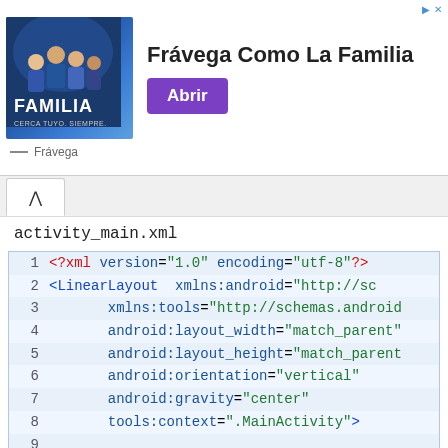[Figure (illustration): Advertisement banner for Frávega showing group of people outdoors with text 'Frávega Como La Familia' and purple 'Abrir' button]
activity_main.xml
[Figure (screenshot): Code editor showing XML layout file for Android with LinearLayout containing TextView, lines 1-14 visible]